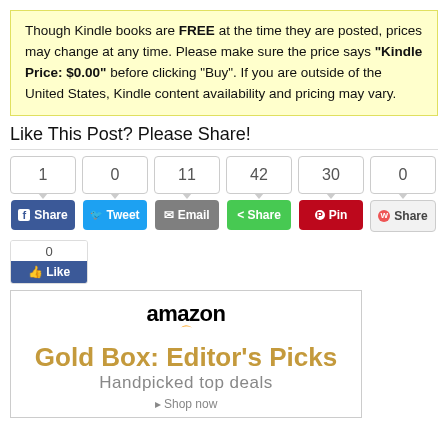Though Kindle books are FREE at the time they are posted, prices may change at any time. Please make sure the price says "Kindle Price: $0.00" before clicking "Buy". If you are outside of the United States, Kindle content availability and pricing may vary.
Like This Post? Please Share!
[Figure (infographic): Social share buttons with counts: Facebook Share (1), Twitter Tweet (0), Email (11), Share (42), Pinterest Pin (30), StumbleUpon Share (0)]
[Figure (infographic): Facebook Like widget showing count of 0 and a Like button]
[Figure (infographic): Amazon Gold Box: Editor's Picks - Handpicked top deals advertisement]